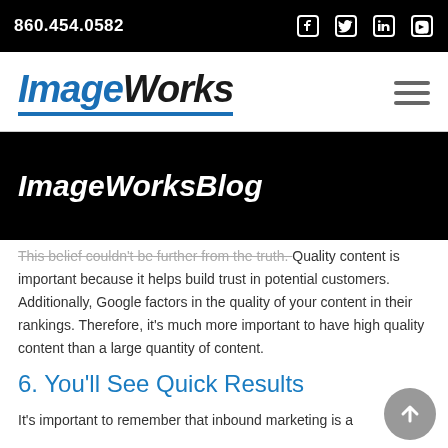860.454.0582
[Figure (logo): ImageWorks logo with italic blue 'Image' and black 'Works' text, with blue underline]
ImageWorksBlog
This belief couldn't be further from the truth. Quality content is important because it helps build trust in potential customers. Additionally, Google factors in the quality of your content in their rankings. Therefore, it's much more important to have high quality content than a large quantity of content.
6. You'll See Quick Results
It's important to remember that inbound marketing is a